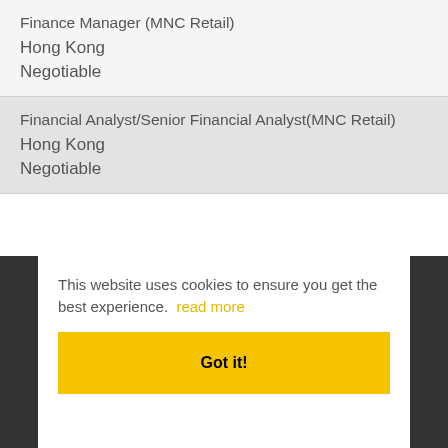Finance Manager (MNC Retail)
Hong Kong
Negotiable
Financial Analyst/Senior Financial Analyst(MNC Retail)
Hong Kong
Negotiable
This website uses cookies to ensure you get the best experience. read more
Got it!